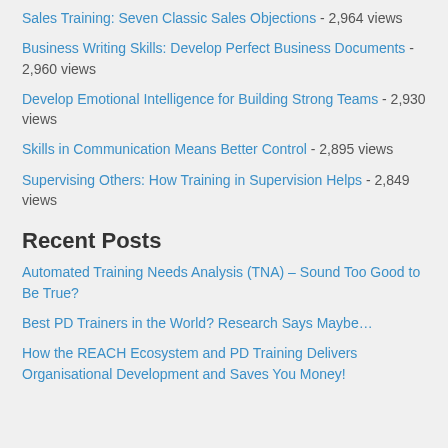Sales Training: Seven Classic Sales Objections - 2,964 views
Business Writing Skills: Develop Perfect Business Documents - 2,960 views
Develop Emotional Intelligence for Building Strong Teams - 2,930 views
Skills in Communication Means Better Control - 2,895 views
Supervising Others: How Training in Supervision Helps - 2,849 views
Recent Posts
Automated Training Needs Analysis (TNA) – Sound Too Good to Be True?
Best PD Trainers in the World? Research Says Maybe…
How the REACH Ecosystem and PD Training Delivers Organisational Development and Saves You Money!